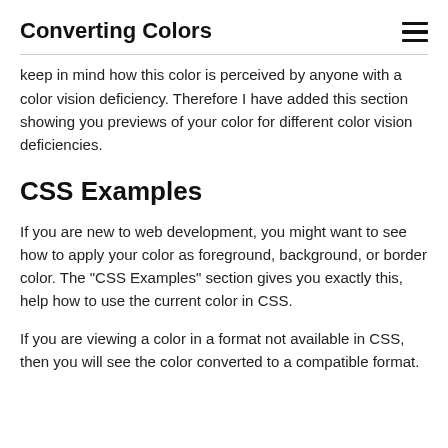Converting Colors
keep in mind how this color is perceived by anyone with a color vision deficiency. Therefore I have added this section showing you previews of your color for different color vision deficiencies.
CSS Examples
If you are new to web development, you might want to see how to apply your color as foreground, background, or border color. The "CSS Examples" section gives you exactly this, help how to use the current color in CSS.
If you are viewing a color in a format not available in CSS, then you will see the color converted to a compatible format.